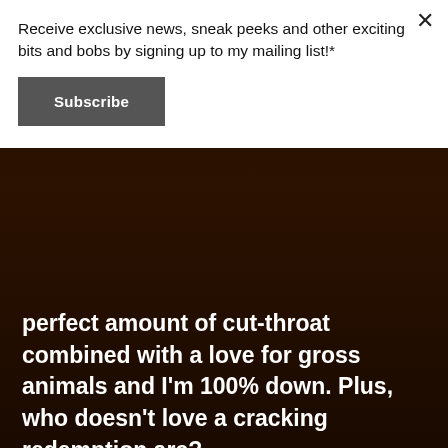Receive exclusive news, sneak peeks and other exciting bits and bobs by signing up to my mailing list!*
Subscribe
perfect amount of cut-throat combined with a love for gross animals and I'm 100% down. Plus, who doesn't love a cracking redemption arc?
1. Elphaba aka The Wicked Witch of the West (Wicked/The Wizard of Oz)
As a kid The Wizard Of Oz was my favourite movie. And when I found out that there was a musical about the witch telling us HER story I about died (I love Gregory Maguire's book, too). In my opinion all good story-telling is about point of view, so I love hearing about characters whose story was